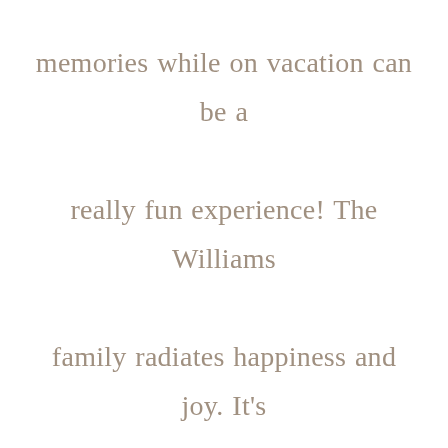memories while on vacation can be a really fun experience! The Williams family radiates happiness and joy. It's always fun to work with clients who are willing to try new ideas with me. Some of my favorites include the portraits of mom and daughter lying down and searching for airplanes.